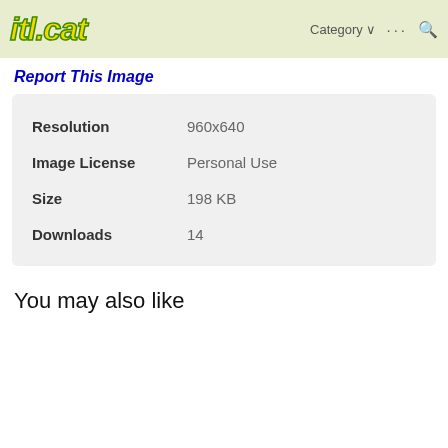itl.cat — Category ··· 🔍
Report This Image
| Field | Value |
| --- | --- |
| Resolution | 960x640 |
| Image License | Personal Use |
| Size | 198 KB |
| Downloads | 14 |
You may also like